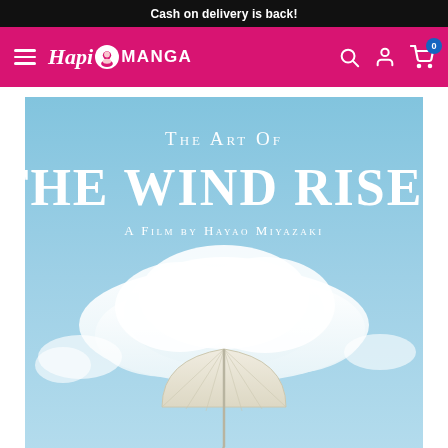Cash on delivery is back!
[Figure (screenshot): HapiManga website navigation bar with hamburger menu, HapiManga logo, search icon, account icon, and cart icon with badge showing 0]
[Figure (illustration): Book cover for 'The Art of The Wind Rises: A Film by Hayao Miyazaki' showing a light blue sky with white clouds and a white umbrella at the bottom center]